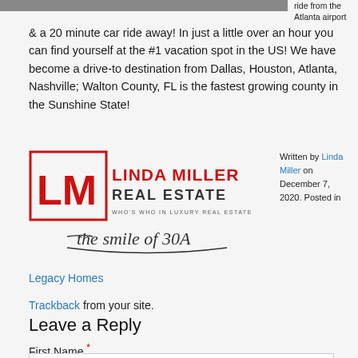[Figure (photo): Partial photo strip visible at top left of page]
ride from the Atlanta airport & a 20 minute car ride away! In just a little over an hour you can find yourself at the #1 vacation spot in the US! We have become a drive-to destination from Dallas, Houston, Atlanta, Nashville; Walton County, FL is the fastest growing county in the Sunshine State!
[Figure (logo): Linda Miller Real Estate logo with LM monogram in red square, LINDA MILLER in red, REAL ESTATE in dark, WHO'S WHO IN LUXURY REAL ESTATE tagline, and 'the smile of 30A' cursive text]
Written by Linda Miller on December 7, 2020. Posted in
Legacy Homes
Trackback from your site.
Leave a Reply
First Name *